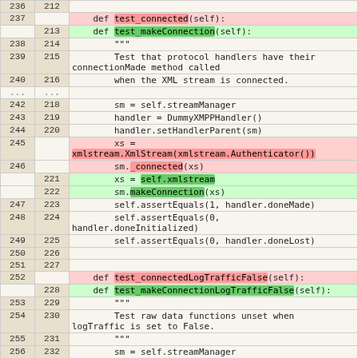| old | new | code |
| --- | --- | --- |
| 236 | 212 |  |
| 237 |  | def test_connected(self): |
|  | 213 | def test_makeConnection(self): |
| 238 | 214 | """ |
| 239 | 215 |     Test that protocol handlers have their
connectionMade method called |
| 240 | 216 |     when the XML stream is connected. |
| ... | ... |  |
| 242 | 218 |     sm = self.streamManager |
| 243 | 219 |     handler = DummyXMPPHandler() |
| 244 | 220 |     handler.setHandlerParent(sm) |
| 245 |  |     xs =
xmlstream.XmlStream(xmlstream.Authenticator()) |
| 246 |  |     sm._connected(xs) |
|  | 221 |     xs = self.xmlstream |
|  | 222 |     sm.makeConnection(xs) |
| 247 | 223 |     self.assertEquals(1, handler.doneMade) |
| 248 | 224 |     self.assertEquals(0,
handler.doneInitialized) |
| 249 | 225 |     self.assertEquals(0, handler.doneLost) |
| 250 | 226 |  |
| 251 | 227 |  |
| 252 |  |     def test_connectedLogTrafficFalse(self): |
|  | 228 |     def test_makeConnectionLogTrafficFalse(self): |
| 253 | 229 |         """ |
| 254 | 230 |         Test raw data functions unset when
logTraffic is set to False. |
| 255 | 231 |         """ |
| 256 | 232 |         sm = self.streamManager |
| 257 | 233 |         handler = DummyXMPPHandler() |
| 258 | 234 |         handler.setHandlerParent(sm) |
| 259 |  |         xs = |